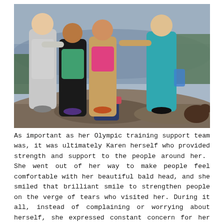[Figure (photo): Four young people posing together on a rocky overlook with a lake and forested landscape in the background. From left to right: a tall young man in a gray Nike t-shirt and shorts, a young woman in a black jacket and teal top, a young woman in a beige vest and pink top with a braid, and a young woman in a teal blue long-sleeve shirt. A backpack is visible on the ground. The photo appears to be taken outdoors on a hike.]
As important as her Olympic training support team was, it was ultimately Karen herself who provided strength and support to the people around her.  She went out of her way to make people feel comfortable with her beautiful bald head, and she smiled that brilliant smile to strengthen people on the verge of tears who visited her. During it all, instead of complaining or worrying about herself, she expressed constant concern for her mom, dad, brother, friends and fiance.  She was holding everyone up around her with her humor, courage and strength.   Even in those brave moments when she showed her doubt, weakness and frailty, she continued